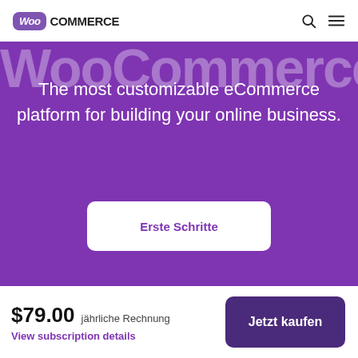WooCommerce
WooCommerce
The most customizable eCommerce platform for building your online business.
Erste Schritte
$79.00 jährliche Rechnung View subscription details | Jetzt kaufen